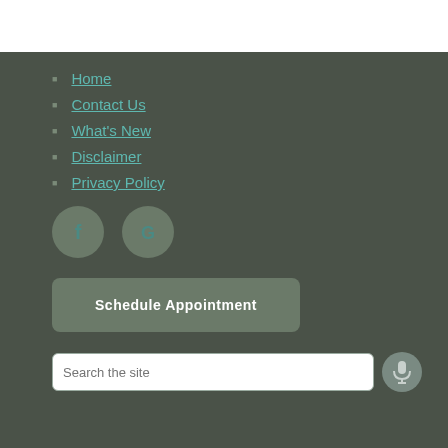Home
Contact Us
What's New
Disclaimer
Privacy Policy
[Figure (illustration): Facebook and Google social media icon circles]
Schedule Appointment
Search the site